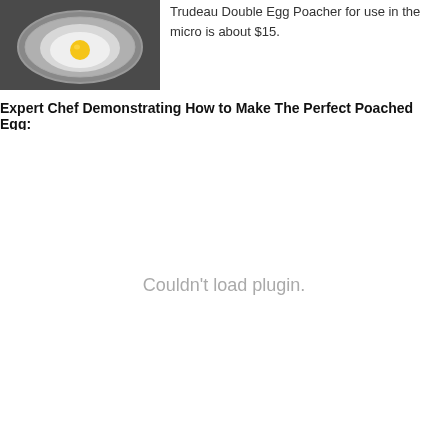[Figure (photo): A poached egg in a round silver egg poacher tray, viewed from above on a dark background.]
Trudeau Double Egg Poacher for use in the micro is about $15.
Expert Chef Demonstrating How to Make The Perfect Poached Egg:
[Figure (other): Embedded video or plugin area displaying 'Couldn't load plugin.']